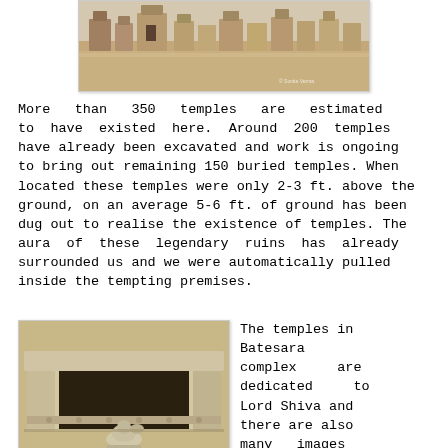[Figure (photo): Photograph of ancient temple ruins at Batesara complex, showing rows of small stone structures and temple remains under open sky.]
More than 350 temples are estimated to have existed here. Around 200 temples have already been excavated and work is ongoing to bring out remaining 150 buried temples. When located these temples were only 2-3 ft. above the ground, on an average 5-6 ft. of ground has been dug out to realise the existence of temples. The aura of these legendary ruins has already surrounded us and we were automatically pulled inside the tempting premises.
[Figure (photo): Photograph of a stone temple structure at Batesara with a small Nandi (bull) statue in front, showing carved stonework and a dark interior chamber.]
The temples in Batesara complex are dedicated to Lord Shiva and there are also many images and statues